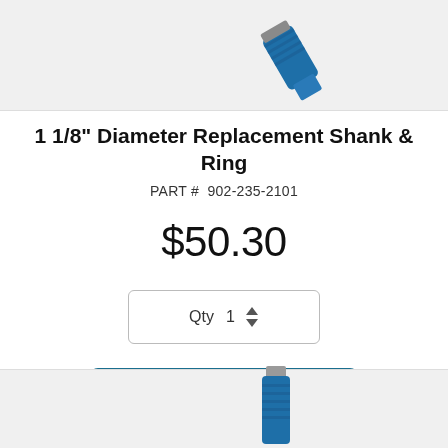[Figure (photo): Top portion of a blue diamond drill bit / core bit on a gray background, partially cropped at top]
1 1/8" Diameter Replacement Shank & Ring
PART #  902-235-2101
$50.30
Qty  1
ADD TO CART
[Figure (photo): Bottom portion of a blue diamond drill bit on a gray background, partially cropped at bottom of page]